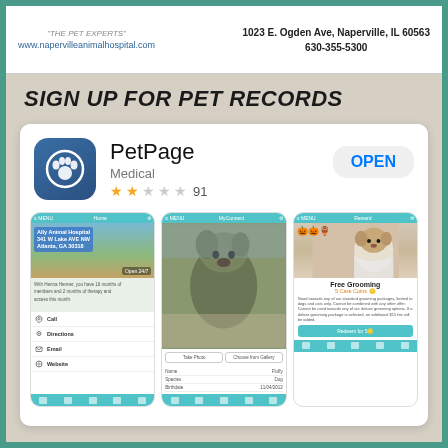www.napervilleanimalhospital.com | 1023 E. Ogden Ave, Naperville, IL 60563 | 630-355-5300
SIGN UP FOR PET RECORDS
[Figure (screenshot): App Store listing for PetPage app showing app icon, name, category (Medical), star rating (2/5, 91 reviews), OPEN button, and three iPhone screenshots: (1) Ally Animal Hospital location page with map, Call/Directions/Email/Website options; (2) Pet photo upload screen with dog photo and Name/Species/Birthdate fields; (3) Free Grooming reward screen showing 5 Care Coins offer]